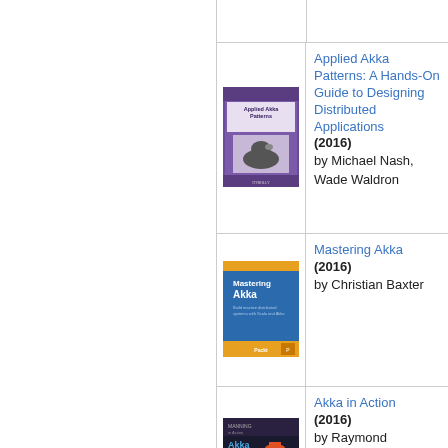[Figure (illustration): Book cover: Applied Akka Patterns: A Hands-On Guide to Designing Distributed Applications (2016)]
Applied Akka Patterns: A Hands-On Guide to Designing Distributed Applications (2016) by Michael Nash, Wade Waldron
[Figure (illustration): Book cover: Mastering Akka (2016)]
Mastering Akka (2016) by Christian Baxter
[Figure (illustration): Book cover: Akka in Action (2016)]
Akka in Action (2016) by Raymond Roestenburg, Rob Bakker, Rob Williams